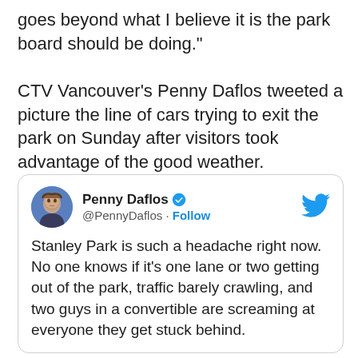goes beyond what I believe it is the park board should be doing." CTV Vancouver’s Penny Daflos tweeted a picture the line of cars trying to exit the park on Sunday after visitors took advantage of the good weather.
[Figure (screenshot): Embedded tweet from @PennyDaflos (Penny Daflos, verified) with Twitter bird logo. Tweet text: 'Stanley Park is such a headache right now. No one knows if it’s one lane or two getting out of the park, traffic barely crawling, and two guys in a convertible are screaming at everyone they get stuck behind.']